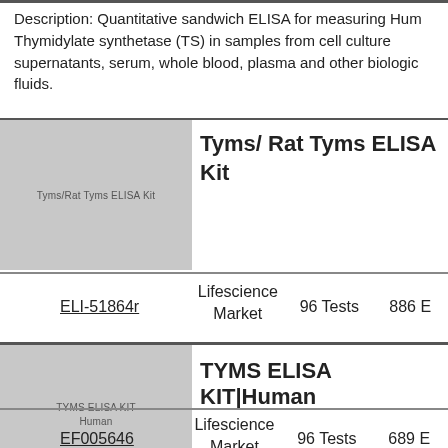Description: Quantitative sandwich ELISA for measuring Human Thymidylate synthetase (TS) in samples from cell culture supernatants, serum, whole blood, plasma and other biological fluids.
| Image | Product Name | Catalog ID | Vendor | Size | Price |
| --- | --- | --- | --- | --- | --- |
| [image] | Tyms/ Rat Tyms ELISA Kit | ELI-51864r | Lifescience Market | 96 Tests | 886 E |
| [image] | TYMS ELISA KIT|Human | EF005646 | Lifescience Market | 96 Tests | 689 E |